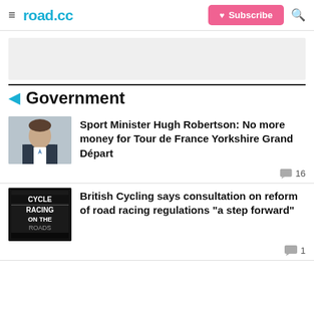road.cc | Subscribe
[Figure (other): Advertisement placeholder area, light grey background]
Government
[Figure (photo): Photo thumbnail of Sport Minister Hugh Robertson, a man in a dark suit]
Sport Minister Hugh Robertson: No more money for Tour de France Yorkshire Grand Départ
16 comments
[Figure (photo): Book cover thumbnail showing text: CYCLE RACING ON THE ROADS]
British Cycling says consultation on reform of road racing regulations "a step forward"
1 comment